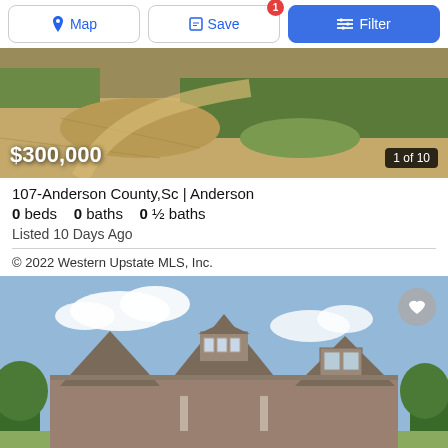Map | Save (1 saved) | Filter
[Figure (photo): Aerial/ground view of a dirt lot with gravel and green grass in background — land for sale]
$300,000
1 of 10
107-Anderson County,Sc | Anderson
0 beds   0 baths   0 ½ baths
Listed 10 Days Ago
© 2022 Western Upstate MLS, Inc.
[Figure (photo): Front exterior photo of a craftsman-style house with brown/gray shingle roof and multiple gables, blue sky with clouds in background]